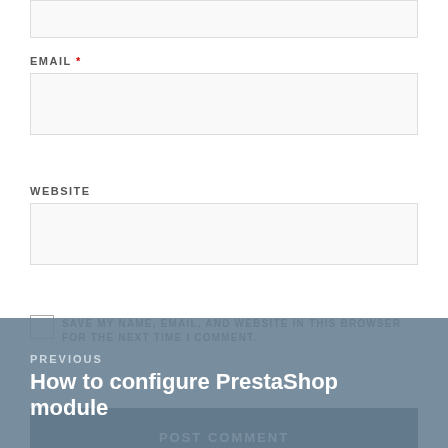EMAIL *
WEBSITE
SAVE MY NAME, EMAIL, AND WEBSITE IN THIS BROWSER FOR THE NEXT TIME I COMMENT.
POST COMMENT
PREVIOUS
How to configure PrestaShop module